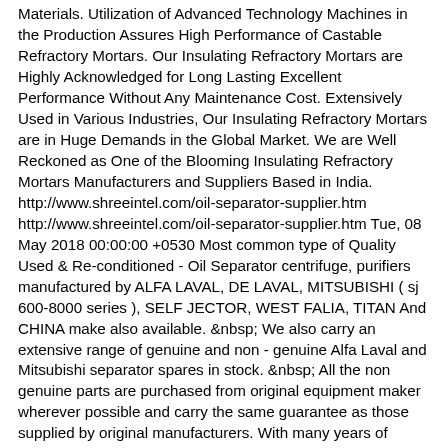Materials. Utilization of Advanced Technology Machines in the Production Assures High Performance of Castable Refractory Mortars. Our Insulating Refractory Mortars are Highly Acknowledged for Long Lasting Excellent Performance Without Any Maintenance Cost. Extensively Used in Various Industries, Our Insulating Refractory Mortars are in Huge Demands in the Global Market. We are Well Reckoned as One of the Blooming Insulating Refractory Mortars Manufacturers and Suppliers Based in India. http://www.shreeintel.com/oil-separator-supplier.htm http://www.shreeintel.com/oil-separator-supplier.htm Tue, 08 May 2018 00:00:00 +0530 Most common type of Quality Used &amp; Re-conditioned - Oil Separator centrifuge, purifiers manufactured by ALFA LAVAL, DE LAVAL, MITSUBISHI ( sj 600-8000 series ), SELF JECTOR, WEST FALIA, TITAN And CHINA make also available. &nbsp; We also carry an extensive range of genuine and non - genuine Alfa Laval and Mitsubishi separator spares in stock. &nbsp; All the non genuine parts are purchased from original equipment maker wherever possible and carry the same guarantee as those supplied by original manufacturers. With many years of experience of supply across the world you can be sure that the parts will fit first time, every time. http://www.shreeintel.com/pyrophyllite-ore-supplier.htm http://www.shreeintel.com/pyrophyllite-ore-supplier.htm Tue, 08 May 2018 00:00:00 +0530 Shree Trading Company has been in Various Mineral &amp; Metals business as a family concern since 1999. The Company has acquired &amp; is in the business since Start